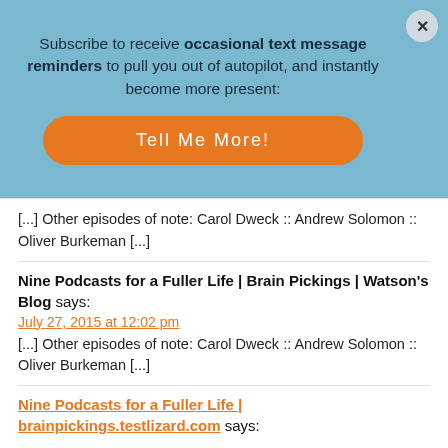Subscribe to receive occasional text message reminders to pull you out of autopilot, and instantly become more present:
Tell Me More!
[...] Other episodes of note: Carol Dweck :: Andrew Solomon :: Oliver Burkeman [...]
Nine Podcasts for a Fuller Life | Brain Pickings | Watson's Blog says:
July 27, 2015 at 12:02 pm
[...] Other episodes of note: Carol Dweck :: Andrew Solomon :: Oliver Burkeman [...]
Nine Podcasts for a Fuller Life | brainpickings.testlizard.com says: